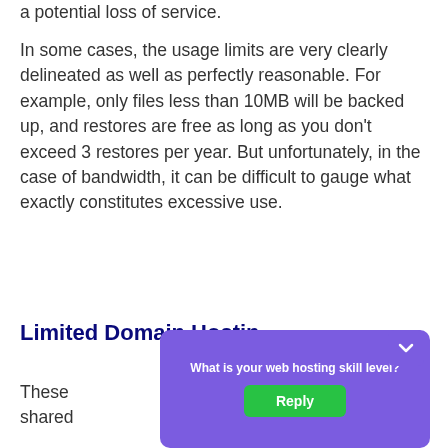a potential loss of service.
In some cases, the usage limits are very clearly delineated as well as perfectly reasonable. For example, only files less than 10MB will be backed up, and restores are free as long as you don't exceed 3 restores per year. But unfortunately, in the case of bandwidth, it can be difficult to gauge what exactly constitutes excessive use.
Limited Domain Hosting
These ... on a shared ... more
[Figure (other): A purple popup dialog overlay on the page asking 'What is your web hosting skill level?' with a green 'Reply' button, partially covering the section header and body text below.]